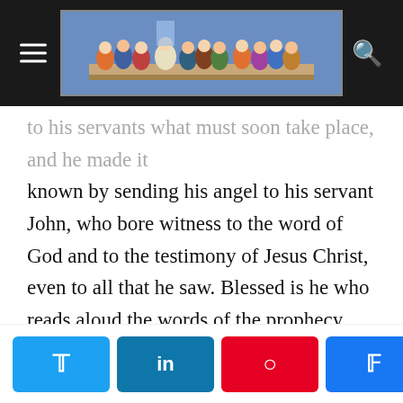[Figure (illustration): Website navigation bar with hamburger menu on left, The Last Supper painting as logo in center, search icon on right, dark background]
to his servants what must soon take place, and he made it known by sending his angel to his servant John, who bore witness to the word of God and to the testimony of Jesus Christ, even to all that he saw. Blessed is he who reads aloud the words of the prophecy, and blessed are those who hear, and who keep what is written therein; for the time is near. John to the seven churches that are in Asia: Grace to you and peace from him who is and who was and who is to come, and from the seven spirits who are before his throne. [I heard the Lord saying to me:] “To the angel of the Church in Ephesus write: ‘The words of him who holds the seven stars in his right hand, who walks among the seven golden lamp stands. ‘”I know your works, your toil and your patient endurance, and how you cannot hear evil men but have
[Figure (infographic): Social share bar with Twitter, LinkedIn, Pinterest, Facebook buttons and share count showing 0 SHARES]